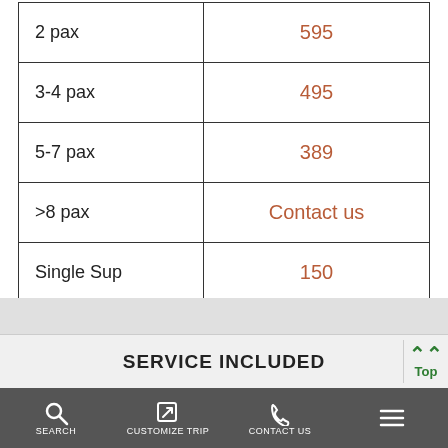|  |  |
| --- | --- |
| 2 pax | 595 |
| 3-4 pax | 495 |
| 5-7 pax | 389 |
| >8 pax | Contact us |
| Single Sup | 150 |
SERVICE INCLUDED
Accommodation with daily breakfast
SEARCH   CUSTOMIZE TRIP   CONTACT US   ≡